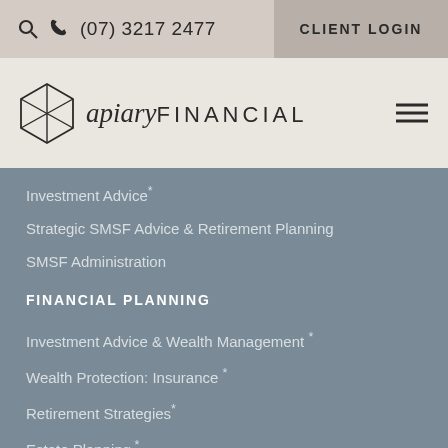(07) 3217 2477  CLIENT LOGIN
[Figure (logo): Apiary Financial logo with hexagonal icon and stylized text]
Investment Advice*
Strategic SMSF Advice & Retirement Planning
SMSF Administration
FINANCIAL PLANNING
Investment Advice & Wealth Management *
Wealth Protection: Insurance *
Retirement Strategies *
Estate Planning *
Aged Care *
CONTACT